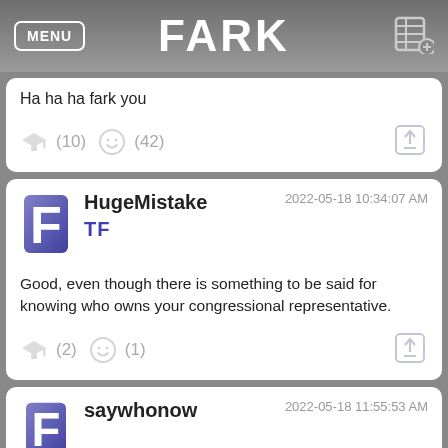MENU | FARK
Ha ha ha fark you
(10)  (42)
HugeMistake
TF
2022-05-18 10:34:07 AM
Good, even though there is something to be said for knowing who owns your congressional representative.
(2)  (1)
saywhonow
2022-05-18 11:55:53 AM